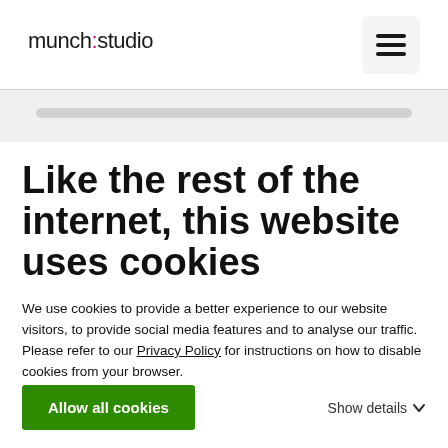munch:studio
Like the rest of the internet, this website uses cookies
We use cookies to provide a better experience to our website visitors, to provide social media features and to analyse our traffic. Please refer to our Privacy Policy for instructions on how to disable cookies from your browser.
Allow all cookies
Show details